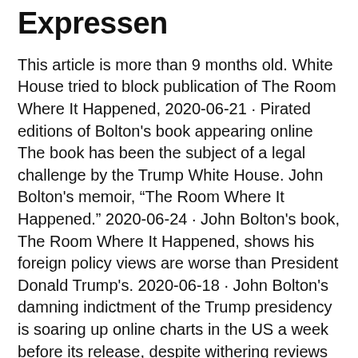Expressen
This article is more than 9 months old. White House tried to block publication of The Room Where It Happened, 2020-06-21 · Pirated editions of Bolton's book appearing online The book has been the subject of a legal challenge by the Trump White House. John Bolton's memoir, “The Room Where It Happened.” 2020-06-24 · John Bolton's book, The Room Where It Happened, shows his foreign policy views are worse than President Donald Trump's. 2020-06-18 · John Bolton's damning indictment of the Trump presidency is soaring up online charts in the US a week before its release, despite withering reviews describing it as “bloated with self 2020-06-18 · John R. Bolton, the former national security adviser, plans to publish a damning book next week depicting President Trump as a corrupt, poorly